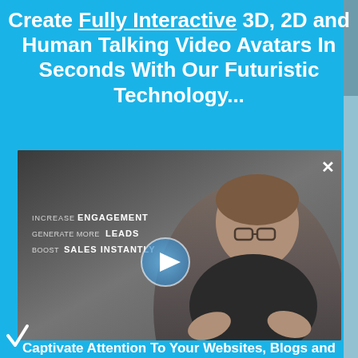Create Fully Interactive 3D, 2D and Human Talking Video Avatars In Seconds With Our Futuristic Technology...
[Figure (screenshot): Video player screenshot showing a man in a dark shirt with text overlaid reading 'INCREASE ENGAGEMENT / GENERATE MORE LEADS / BOOST SALES INSTANTLY' and a play button in the center. A close (X) button is in the top right of the video.]
Captivate Attention To Your Websites, Blogs and